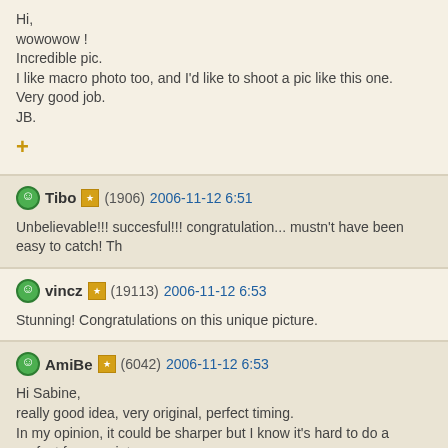Hi,
wowowow !
Incredible pic.
I like macro photo too, and I'd like to shoot a pic like this one.
Very good job.
JB.
Tibo (1906) 2006-11-12 6:51
Unbelievable!!! succesful!!! congratulation... mustn't have been easy to catch! Th
vincz (19113) 2006-11-12 6:53
Stunning! Congratulations on this unique picture.
AmiBe (6042) 2006-11-12 6:53
Hi Sabine,
really good idea, very original, perfect timing.
In my opinion, it could be sharper but I know it's hard to do a perfect focus point